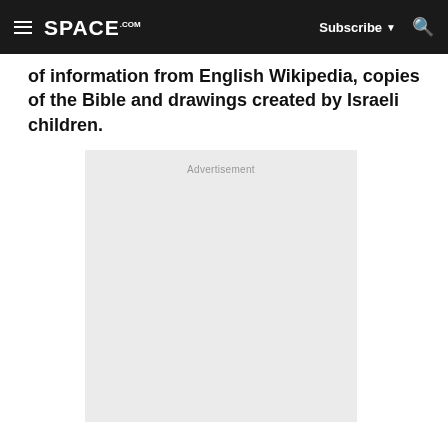SPACE.com | Subscribe | Search
of information from English Wikipedia, copies of the Bible and drawings created by Israeli children.
[Figure (other): Advertisement placeholder box with light gray background and 'Advertisement' label at the top center.]